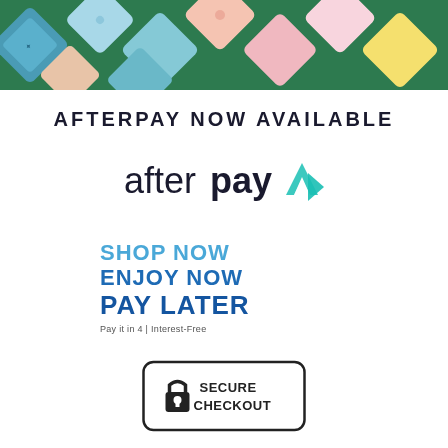[Figure (photo): Top banner photo showing colorful patterned fabric swatches arranged on a green background]
AFTERPAY NOW AVAILABLE
[Figure (logo): Afterpay logo: 'afterpay' in dark text with teal chevron/arrow icon]
[Figure (infographic): Blue bold text block: 'SHOP NOW ENJOY NOW PAY LATER' with smaller text 'Pay it in 4 | Interest-Free']
[Figure (infographic): Secure Checkout badge: padlock icon with text 'SECURE CHECKOUT' in a rounded rectangle border]